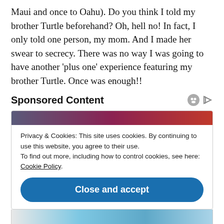Maui and once to Oahu). Do you think I told my brother Turtle beforehand? Oh, hell no! In fact, I only told one person, my mom. And I made her swear to secrecy. There was no way I was going to have another 'plus one' experience featuring my brother Turtle. Once was enough!!
Sponsored Content
Privacy & Cookies: This site uses cookies. By continuing to use this website, you agree to their use. To find out more, including how to control cookies, see here: Cookie Policy
[Figure (screenshot): Bottom strip of an image showing people in blue medical/casual attire]